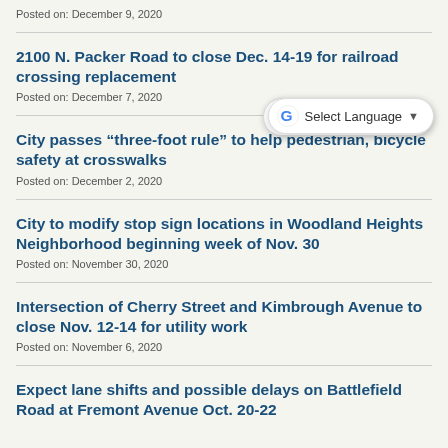Posted on: December 9, 2020
2100 N. Packer Road to close Dec. 14-19 for railroad crossing replacement
Posted on: December 7, 2020
City passes “three-foot rule” to help pedestrian, bicycle safety at crosswalks
Posted on: December 2, 2020
City to modify stop sign locations in Woodland Heights Neighborhood beginning week of Nov. 30
Posted on: November 30, 2020
Intersection of Cherry Street and Kimbrough Avenue to close Nov. 12-14 for utility work
Posted on: November 6, 2020
Expect lane shifts and possible delays on Battlefield Road at Fremont Avenue Oct. 20-22